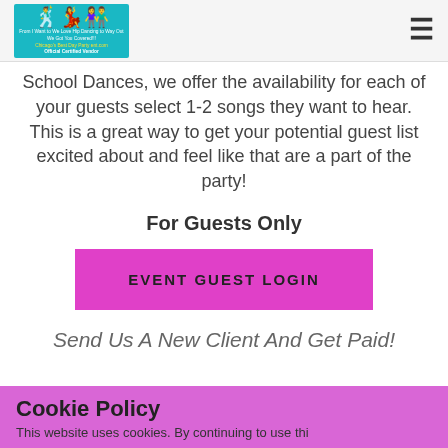[Figure (logo): DJ company logo with silhouette dancers on teal background, text 'Official Certified Vendor']
School Dances, we offer the availability for each of your guests select 1-2 songs they want to hear. This is a great way to get your potential guest list excited about and feel like that are a part of the party!
For Guests Only
[Figure (other): Pink/magenta button labeled EVENT GUEST LOGIN]
Send Us A New Client And Get Paid!
Cookie Policy
This website uses cookies. By continuing to use this